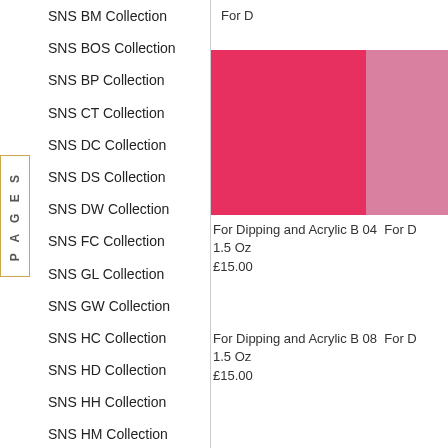SNS BM Collection
SNS BOS Collection
SNS BP Collection
SNS CT Collection
SNS DC Collection
SNS DS Collection
SNS DW Collection
SNS FC Collection
SNS GL Collection
SNS GW Collection
SNS HC Collection
SNS HD Collection
SNS HH Collection
SNS HM Collection
SNS IS Collection
SNS LC Collection
SNS LG Collection
SNS LV Collection
For D
[Figure (photo): Pink/red nail dipping powder color swatch product image]
For Dipping and Acrylic B 04  1.5 Oz
£15.00
[Figure (photo): Light pink nail dipping powder color swatch product image (partial)]
For Dipping and Acrylic B 08  1.5 Oz
£15.00
For D